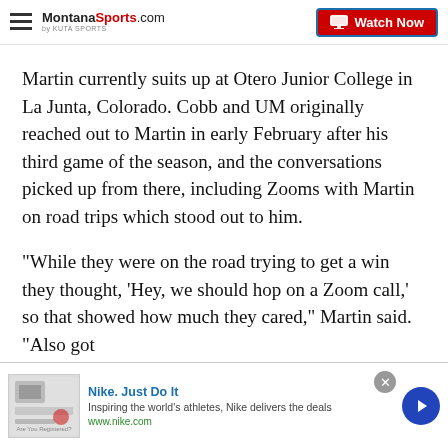MontanaSports.com | Watch Now
Martin currently suits up at Otero Junior College in La Junta, Colorado. Cobb and UM originally reached out to Martin in early February after his third game of the season, and the conversations picked up from there, including Zooms with Martin on road trips which stood out to him.
"While they were on the road trying to get a win they thought, 'Hey, we should hop on a Zoom call,' so that showed how much they cared," Martin said. "Also got
[Figure (screenshot): Advertisement banner for Nike. Just Do It. Shows thumbnail image, text 'Inspiring the world's athletes, Nike delivers the deals' and URL 'www.nike.com' with a blue arrow button and close X button.]